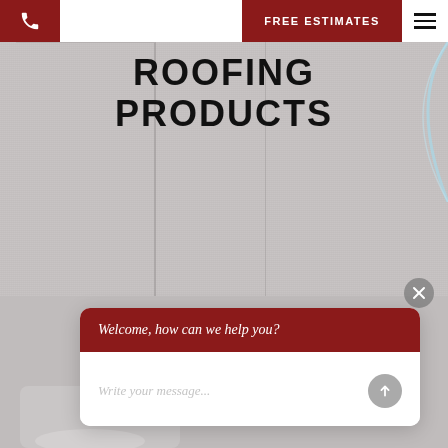FREE ESTIMATES
[Figure (photo): Roofing material texture background image with granular surface, showing panel-like sections. A faint blue curve appears in the upper right.]
ROOFING PRODUCTS
[Figure (screenshot): Chat widget overlay with dark red header reading 'Welcome, how can we help you?' and a white body with placeholder text 'Write your message...' and a gray circular send button. A gray circular close/X button appears above-right of the chat widget.]